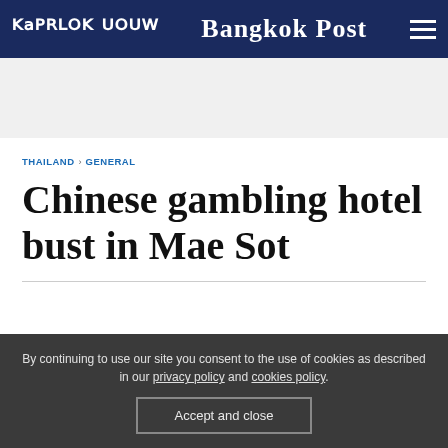Bangkok Post
THAILAND › GENERAL
Chinese gambling hotel bust in Mae Sot
By continuing to use our site you consent to the use of cookies as described in our privacy policy and cookies policy. Accept and close